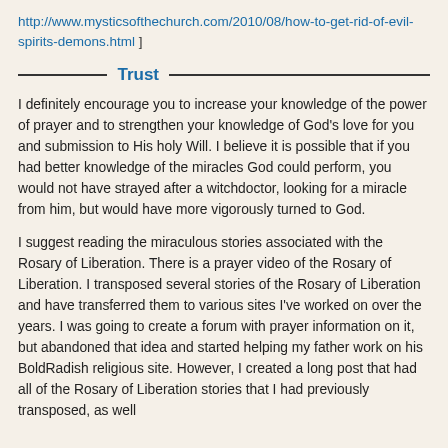http://www.mysticsofthechurch.com/2010/08/how-to-get-rid-of-evil-spirits-demons.html ]
Trust
I definitely encourage you to increase your knowledge of the power of prayer and to strengthen your knowledge of God's love for you and submission to His holy Will. I believe it is possible that if you had better knowledge of the miracles God could perform, you would not have strayed after a witchdoctor, looking for a miracle from him, but would have more vigorously turned to God.
I suggest reading the miraculous stories associated with the Rosary of Liberation. There is a prayer video of the Rosary of Liberation. I transposed several stories of the Rosary of Liberation and have transferred them to various sites I've worked on over the years. I was going to create a forum with prayer information on it, but abandoned that idea and started helping my father work on his BoldRadish religious site. However, I created a long post that had all of the Rosary of Liberation stories that I had previously transposed, as well